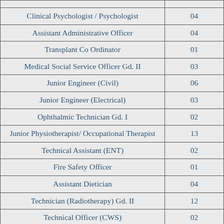| Position | Count |
| --- | --- |
| Clinical Psychologist / Psychologist | 04 |
| Assistant Administrative Officer | 04 |
| Transplant Co Ordinator | 01 |
| Medical Social Service Officer Gd. II | 03 |
| Junior Engineer (Civil) | 06 |
| Junior Engineer (Electrical) | 03 |
| Ophthalmic Technician Gd. I | 02 |
| Junior Physiotherapist/ Occupational Therapist | 13 |
| Technical Assistant (ENT) | 02 |
| Fire Safety Officer | 01 |
| Assistant Dietician | 04 |
| Technician (Radiotherapy) Gd. II | 12 |
| Technical Officer (CWS) | 02 |
| Social Psychologist | 03 |
| Life Guard | 01 |